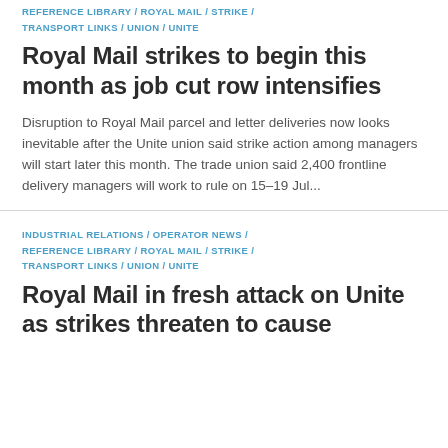REFERENCE LIBRARY / ROYAL MAIL / STRIKE / TRANSPORT LINKS / UNION / UNITE
Royal Mail strikes to begin this month as job cut row intensifies
Disruption to Royal Mail parcel and letter deliveries now looks inevitable after the Unite union said strike action among managers will start later this month. The trade union said 2,400 frontline delivery managers will work to rule on 15-19 Jul...
INDUSTRIAL RELATIONS / OPERATOR NEWS / REFERENCE LIBRARY / ROYAL MAIL / STRIKE / TRANSPORT LINKS / UNION / UNITE
Royal Mail in fresh attack on Unite as strikes threaten to cause